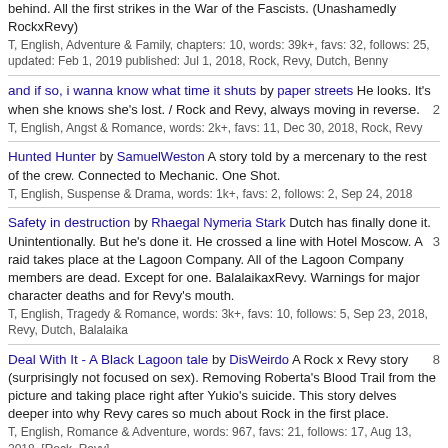behind. All the first strikes in the War of the Fascists. (Unashamedly RockxRevy) T, English, Adventure & Family, chapters: 10, words: 39k+, favs: 32, follows: 25, updated: Feb 1, 2019 published: Jul 1, 2018, Rock, Revy, Dutch, Benny
and if so, i wanna know what time it shuts by paper streets He looks. It's when she knows she's lost. / Rock and Revy, always moving in reverse. T, English, Angst & Romance, words: 2k+, favs: 11, Dec 30, 2018, Rock, Revy
Hunted Hunter by SamuelWeston A story told by a mercenary to the rest of the crew. Connected to Mechanic. One Shot. T, English, Suspense & Drama, words: 1k+, favs: 2, follows: 2, Sep 24, 2018
Safety in destruction by Rhaegal Nymeria Stark Dutch has finally done it. Unintentionally. But he's done it. He crossed a line with Hotel Moscow. A raid takes place at the Lagoon Company. All of the Lagoon Company members are dead. Except for one. BalalaikaxRevy. Warnings for major character deaths and for Revy's mouth. T, English, Tragedy & Romance, words: 3k+, favs: 10, follows: 5, Sep 23, 2018, Revy, Dutch, Balalaika
Deal With It - A Black Lagoon tale by DisWeirdo A Rock x Revy story (surprisingly not focused on sex). Removing Roberta's Blood Trail from the picture and taking place right after Yukio's suicide. This story delves deeper into why Revy cares so much about Rock in the first place. T, English, Romance & Adventure, words: 967, favs: 21, follows: 17, Aug 13, 2018, [Rock, Revy]